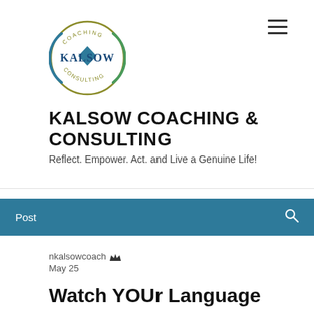[Figure (logo): Kalsow Coaching & Consulting circular logo with green crescent, blue diamond, and text]
KALSOW COACHING & CONSULTING
Reflect. Empower. Act. and Live a Genuine Life!
Post
nkalsowcoach  May 25
Watch YOUr Language